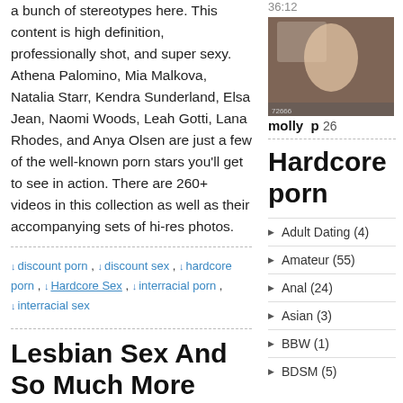a bunch of stereotypes here. This content is high definition, professionally shot, and super sexy. Athena Palomino, Mia Malkova, Natalia Starr, Kendra Sunderland, Elsa Jean, Naomi Woods, Leah Gotti, Lana Rhodes, and Anya Olsen are just a few of the well-known porn stars you'll get to see in action. There are 260+ videos in this collection as well as their accompanying sets of hi-res photos.
36:12
[Figure (photo): Thumbnail image of a person, dark-toned bedroom scene]
molly p 26
↓ discount porn , ↓ discount sex , ↓ hardcore porn , ↓ Hardcore Sex , ↓ interracial porn , ↓ interracial sex
Lesbian Sex And So Much More
February 10th, 2022 | Posted by Karlie in Lesbians - (Comments Off)
Hardcore porn
Adult Dating (4)
Amateur (55)
Anal (24)
Asian (3)
BBW (1)
BDSM (5)